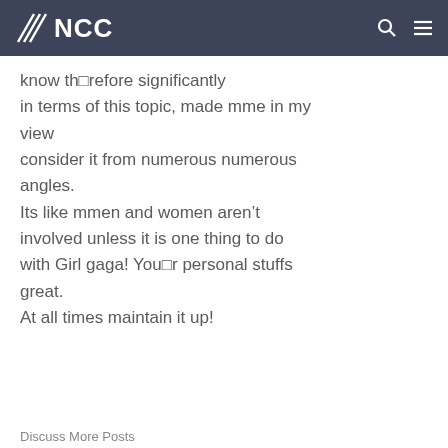NCC
know th□refore significantly in terms of this topic, made mme in my view consider it from numerous numerous angles. Its like mmen and women aren’t involved unless it is one thing to do with Girl gaga! You□r personal stuffs great. At all times maintain it up!